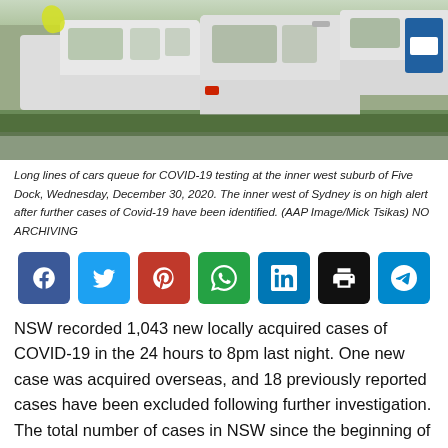[Figure (photo): Long lines of cars and white vans queuing for COVID-19 testing at a suburban location.]
Long lines of cars queue for COVID-19 testing at the inner west suburb of Five Dock, Wednesday, December 30, 2020. The inner west of Sydney is on high alert after further cases of Covid-19 have been identified. (AAP Image/Mick Tsikas) NO ARCHIVING
[Figure (infographic): Social media sharing buttons: Facebook, Twitter, Pinterest, WhatsApp, LinkedIn, Print, Telegram]
NSW recorded 1,043 new locally acquired cases of COVID-19 in the 24 hours to 8pm last night. One new case was acquired overseas, and 18 previously reported cases have been excluded following further investigation. The total number of cases in NSW since the beginning of the pandemic is 56,799.
Sadly, NSW Health is today reporting the deaths of eleven